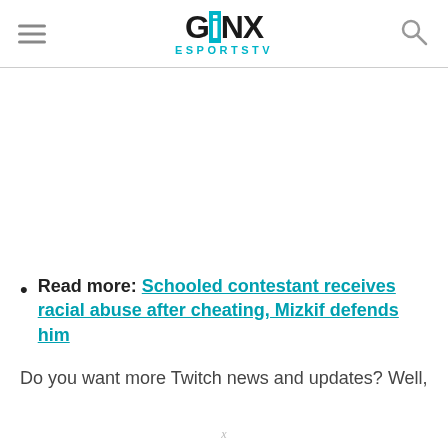GINX ESPORTSTV
Read more: Schooled contestant receives racial abuse after cheating, Mizkif defends him
Do you want more Twitch news and updates? Well,